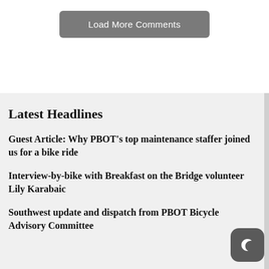Load More Comments
Latest Headlines
Guest Article: Why PBOT's top maintenance staffer joined us for a bike ride
Interview-by-bike with Breakfast on the Bridge volunteer Lily Karabaic
Southwest update and dispatch from PBOT Bicycle Advisory Committee